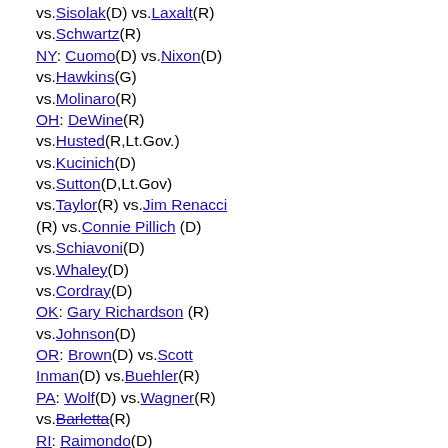vs. Sisolak(D) vs. Laxalt(R)
vs. Schwartz(R)
NY: Cuomo(D) vs. Nixon(D)
vs. Hawkins(G)
vs. Molinaro(R)
OH: DeWine(R)
vs. Husted(R,Lt.Gov.)
vs. Kucinich(D)
vs. Sutton(D,Lt.Gov)
vs. Taylor(R) vs. Jim Renacci
(R) vs. Connie Pillich (D)
vs. Schiavoni(D)
vs. Whaley(D)
vs. Cordray(D)
OK: Gary Richardson (R)
vs. Johnson(D)
OR: Brown(D) vs. Scott
Inman(D) vs. Buehler(R)
PA: Wolf(D) vs. Wagner(R)
vs. Barletta(R)
RI: Raimondo(D)
vs. Fung(R) vs. Morgan(R)
SC: McMaster(R)
vs. McGill(R) vs. Pope(R)
vs. Templeton(R)
vs. Smith(D)
SD: Noem(R) vs. Jackley(R)
vs. Sutton(D)
TN: Green(R) vs. Dean(D)
vs. Black(R)